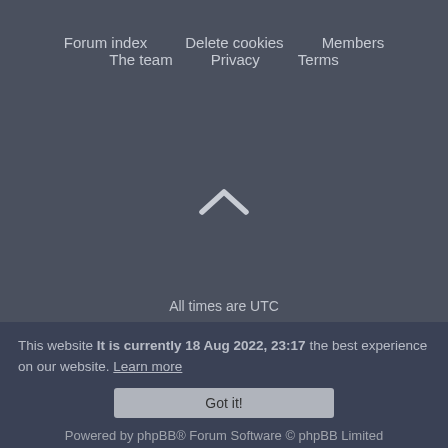Forum index   Delete cookies   Members   The team   Privacy   Terms
[Figure (illustration): Upward chevron/caret arrow icon in light gray, indicating scroll to top]
All times are UTC
This website It is currently 18 Aug 2022, 23:17 the best experience on our website. Learn more
Got it!
Powered by phpBB® Forum Software © phpBB Limited
Anami Theme by Gramziu